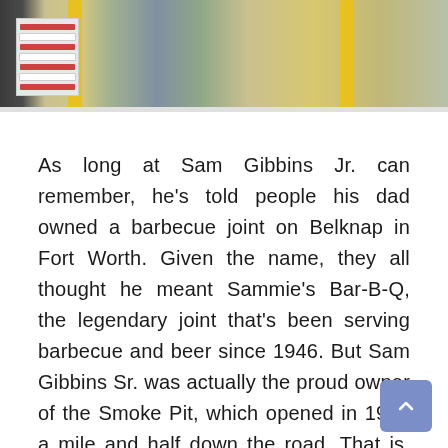[Figure (photo): Outdoor photo showing yellow bollard posts, signage boards, and landscaping with rocks and small plants near a building exterior.]
As long at Sam Gibbins Jr. can remember, he's told people his dad owned a barbecue joint on Belknap in Fort Worth. Given the name, they all thought he meant Sammie's Bar-B-Q, the legendary joint that's been serving barbecue and beer since 1946. But Sam Gibbins Sr. was actually the proud owner of the Smoke Pit, which opened in 1961 a mile and half down the road. That is, until a few years back, when Sammie's went up for sale. Sam Sr. knew the Smoke Pit